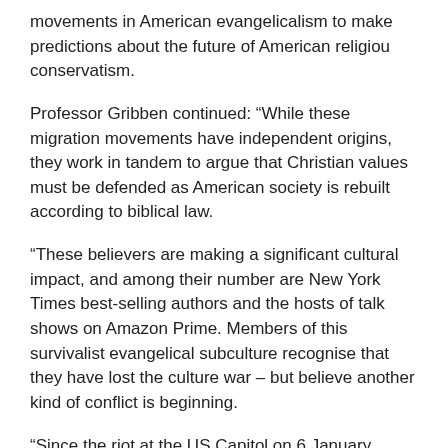movements in American evangelicalism to make predictions about the future of American religiou conservatism.
Professor Gribben continued: “While these migration movements have independent origins, they work in tandem to argue that Christian values must be defended as American society is rebuilt according to biblical law.
“These believers are making a significant cultural impact, and among their number are New York Times best-selling authors and the hosts of talk shows on Amazon Prime. Members of this survivalist evangelical subculture recognise that they have lost the culture war – but believe another kind of conflict is beginning.
“Since the riot at the US Capitol on 6 January, commentators have been asking questions about the relationship between conservative religion and